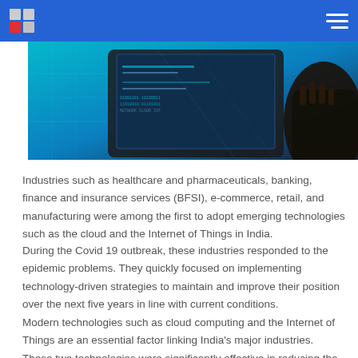Logo and navigation header
[Figure (photo): Person holding a laptop with digital/technology overlay graphics in blue tones]
Industries such as healthcare and pharmaceuticals, banking, finance and insurance services (BFSI), e-commerce, retail, and manufacturing were among the first to adopt emerging technologies such as the cloud and the Internet of Things in India.
During the Covid 19 outbreak, these industries responded to the epidemic problems. They quickly focused on implementing technology-driven strategies to maintain and improve their position over the next five years in line with current conditions.
Modern technologies such as cloud computing and the Internet of Things are an essential factor linking India's major industries. These two technologies were significantly effective in reducing the